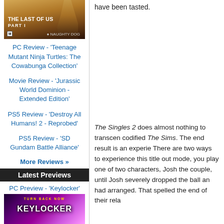[Figure (photo): The Last of Us Part I game cover showing a female character silhouette against a warm sunset background, with M rating and PlayStation logo]
PC Review - 'Teenage Mutant Ninja Turtles: The Cowabunga Collection'
Movie Review - 'Jurassic World Dominion - Extended Edition'
PS5 Review - 'Destroy All Humans! 2 - Reprobed'
PS5 Review - 'SD Gundam Battle Alliance'
More Reviews »
Latest Previews
PC Preview - 'Keylocker'
[Figure (photo): Keylocker game cover with colorful neon purple and pink art showing stylized characters]
have been tasted.
The Singles 2 does almost nothing to transcend the codified The Sims. The end result is an experience. There are two ways to experience this title out mode, you play one of two characters, Josh the couple, until Josh severely dropped the ball an had arranged. That spelled the end of their rela